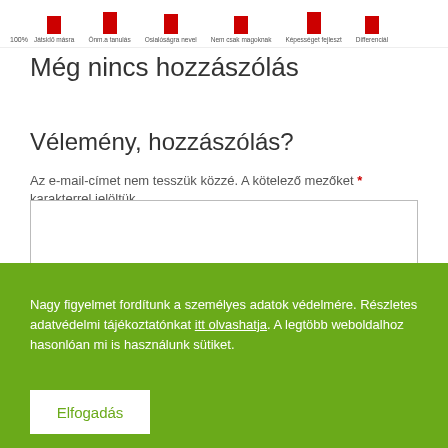[Figure (bar-chart): Partial bar chart showing bars with labels: Játsidő másra, Önm.a tanulás, Osialóságra nevel, Nem csak magoknak, Képességet fejleszt, Differenciál]
Még nincs hozzászólás
Vélemény, hozzászólás?
Az e-mail-címet nem tesszük közzé. A kötelező mezőket * karakterrel jelöltük
Nagy figyelmet fordítunk a személyes adatok védelmére. Részletes adatvédelmi tájékoztatónkat itt olvashatja. A legtöbb weboldalhoz hasonlóan mi is használunk sütiket.
Elfogadás